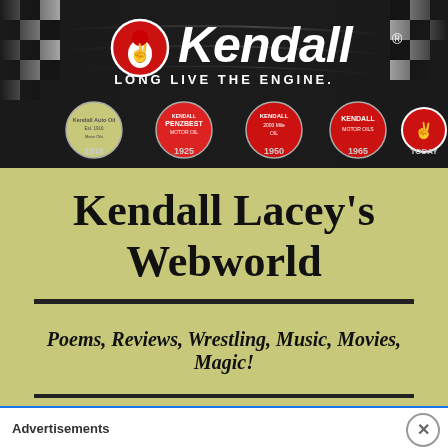[Figure (logo): Kendall Motor Oil banner ad with checkered racing flag background, Kendall logo with peace sign fist icon, tagline 'LONG LIVE THE ENGINE.' and historical logo timeline showing 1916, 1925, 1950, 1965, TODAY]
Kendall Lacey's Webworld
Poems, Reviews, Wrestling, Music, Movies, Magic!
Advertisements